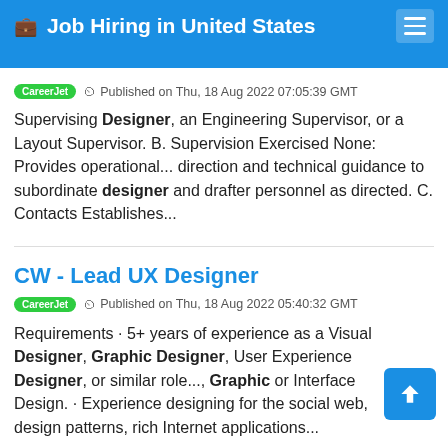Job Hiring in United States
Published on Thu, 18 Aug 2022 07:05:39 GMT
Supervising Designer, an Engineering Supervisor, or a Layout Supervisor. B. Supervision Exercised None: Provides operational... direction and technical guidance to subordinate designer and drafter personnel as directed. C. Contacts Establishes...
CW - Lead UX Designer
Published on Thu, 18 Aug 2022 05:40:32 GMT
Requirements · 5+ years of experience as a Visual Designer, Graphic Designer, User Experience Designer, or similar role..., Graphic or Interface Design. · Experience designing for the social web, design patterns, rich Internet applications...